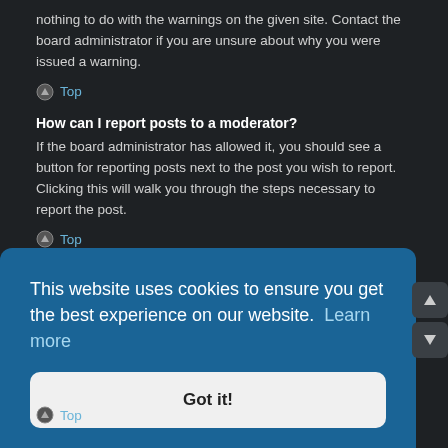nothing to do with the warnings on the given site. Contact the board administrator if you are unsure about why you were issued a warning.
Top
How can I report posts to a moderator?
If the board administrator has allowed it, you should see a button for reporting posts next to the post you wish to report. Clicking this will walk you through the steps necessary to report the post.
Top
What is the “Save” button for in topic posting?
This allows you to save drafts to be completed and submitted at a later date. To reload a saved draft, visit the User Control Panel.
Top
This website uses cookies to ensure you get the best experience on our website. Learn more
Got it!